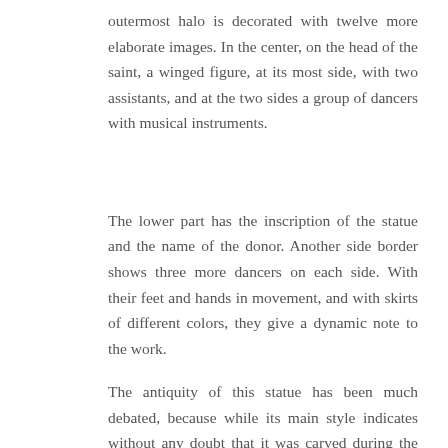outermost halo is decorated with twelve more elaborate images. In the center, on the head of the saint, a winged figure, at its most side, with two assistants, and at the two sides a group of dancers with musical instruments.
The lower part has the inscription of the statue and the name of the donor. Another side border shows three more dancers on each side. With their feet and hands in movement, and with skirts of different colors, they give a dynamic note to the work.
The antiquity of this statue has been much debated, because while its main style indicates without any doubt that it was carved during the Taihe period of the Northern Wei Dynasty, the headdress of the main figure, the pattern of the clothing, the shape of the two Bodhisattvas